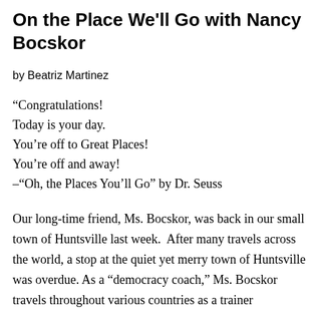On the Place We'll Go with Nancy Bocskor
by Beatriz Martinez
“Congratulations!
Today is your day.
You’re off to Great Places!
You’re off and away!
–“Oh, the Places You’ll Go” by Dr. Seuss
Our long-time friend, Ms. Bocskor, was back in our small town of Huntsville last week.  After many travels across the world, a stop at the quiet yet merry town of Huntsville was overdue. As a “democracy coach,” Ms. Bocskor travels throughout various countries as a trainer...